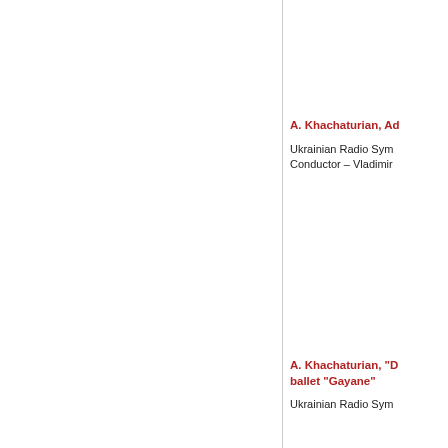A. Khachaturian, Ad...
Ukrainian Radio Sym...
Conductor – Vladimir...
A. Khachaturian, "D... ballet "Gayane"
Ukrainian Radio Sym...